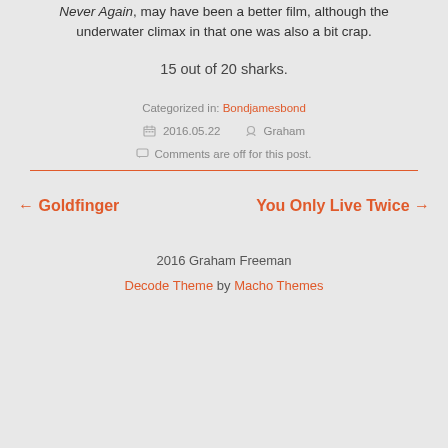Never Again, may have been a better film, although the underwater climax in that one was also a bit crap.
15 out of 20 sharks.
Categorized in: Bondjamesbond
2016.05.22  Graham
Comments are off for this post.
← Goldfinger
You Only Live Twice →
2016 Graham Freeman
Decode Theme by Macho Themes